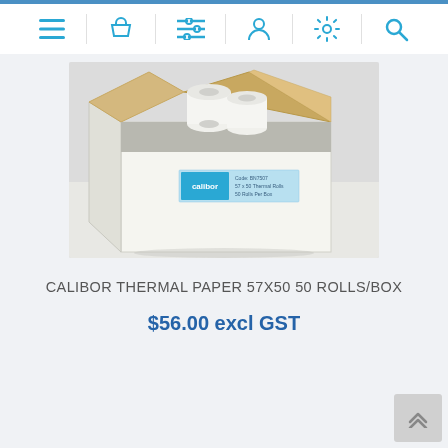Navigation bar with icons: menu, basket, filter, account, settings, search
[Figure (photo): A white cardboard box with an open top showing thermal paper rolls inside. The box has a Calibor branded label with text: Code: BN7507, 57 x 50 Thermal Rolls, 50 Rolls Per Box. Background is white/grey.]
CALIBOR THERMAL PAPER 57X50 50 ROLLS/BOX
$56.00 excl GST